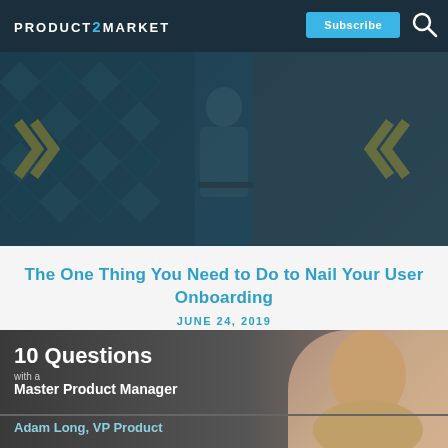PRODUCT2MARKET
[Figure (photo): Person sitting at a round table with a laptop in a stylized room with yellow chevron decorations on walls, dark teal overlay]
The One Thing You Need to Do to Nail Your User Onboarding
JUNE 24, 2019
[Figure (photo): Promotional graphic showing '10 Questions with a Master Product Manager' with Adam Long, VP Product, and a photo of a man on the right side]